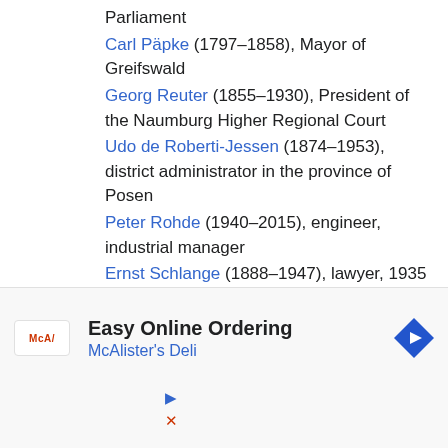Parliament
Carl Päpke (1797–1858), Mayor of Greifswald
Georg Reuter (1855–1930), President of the Naumburg Higher Regional Court
Udo de Roberti-Jessen (1874–1953), district administrator in the province of Posen
Peter Rohde (1940–2015), engineer, industrial manager
Ernst Schlange (1888–1947), lawyer, 1935 chairman of the KSCV and the VAC, Gauleiter of the NSDAP
Georg Friedrich Schömann (1793–1879), classical philologist
Richard Sigmund Schultze , Mayor and Honorary Citizen of Greifswald
Kurt Detloff von Schwerin (1853–1908), District Administrator, Police President, District President
Fritz Siemens (1849–1935), psychiatrist in Pomerania,
[Figure (infographic): Advertisement for McAlister's Deli - Easy Online Ordering]